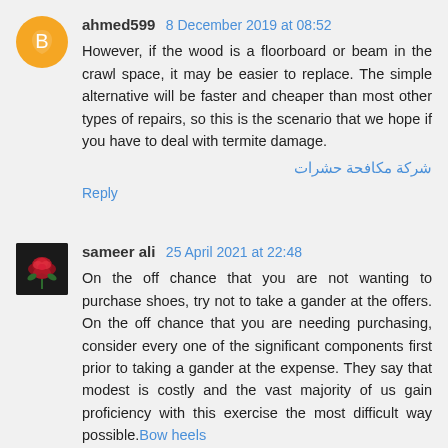ahmed599  8 December 2019 at 08:52
However, if the wood is a floorboard or beam in the crawl space, it may be easier to replace. The simple alternative will be faster and cheaper than most other types of repairs, so this is the scenario that we hope if you have to deal with termite damage.
شركة مكافحة حشرات
Reply
sameer ali  25 April 2021 at 22:48
On the off chance that you are not wanting to purchase shoes, try not to take a gander at the offers. On the off chance that you are needing purchasing, consider every one of the significant components first prior to taking a gander at the expense. They say that modest is costly and the vast majority of us gain proficiency with this exercise the most difficult way possible.Bow heels
Reply